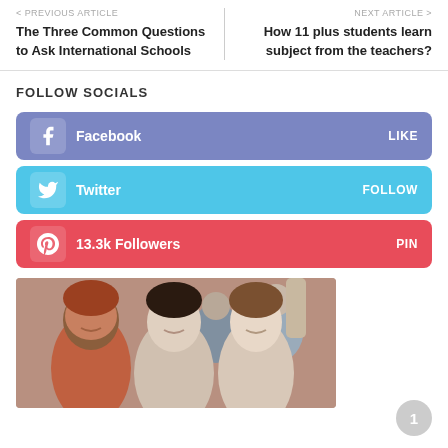< PREVIOUS ARTICLE
The Three Common Questions to Ask International Schools
NEXT ARTICLE >
How 11 plus students learn subject from the teachers?
FOLLOW SOCIALS
Facebook  LIKE
Twitter  FOLLOW
13.3k Followers  PIN
[Figure (photo): Group of smiling students in a classroom setting]